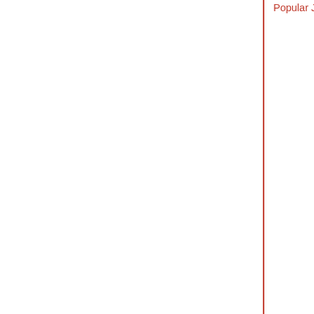Popular Just Call Me Maxi Cologne
Swish Black...
Pamper your loved ones by sending them this Popula......
Gift your dear...
Rs. 1549 / $  19.36
Rs....
Details  Order Now
Details...
Beating Sentiments Roses and Gerberas Special Arrangement
Lustrous Ro...